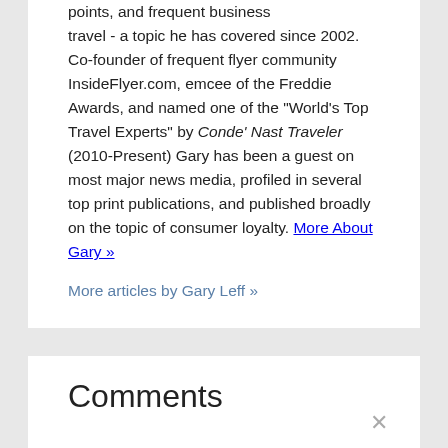points, and frequent business travel - a topic he has covered since 2002. Co-founder of frequent flyer community InsideFlyer.com, emcee of the Freddie Awards, and named one of the "World's Top Travel Experts" by Conde' Nast Traveler (2010-Present) Gary has been a guest on most major news media, profiled in several top print publications, and published broadly on the topic of consumer loyalty. More About Gary »
More articles by Gary Leff »
Comments